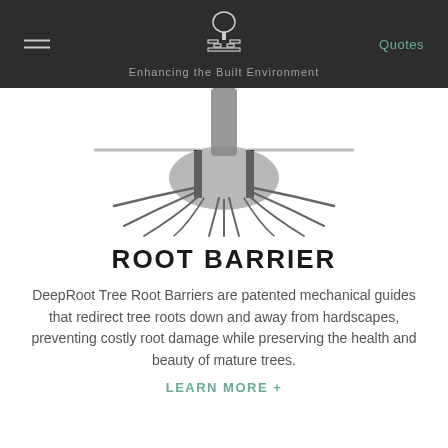Enhancing the Built Environment | Quotes
[Figure (illustration): Illustration of a tree with visible root system, with horizontal barrier lines shown across the roots, indicating root barrier installation.]
ROOT BARRIER
DeepRoot Tree Root Barriers are patented mechanical guides that redirect tree roots down and away from hardscapes, preventing costly root damage while preserving the health and beauty of mature trees.
LEARN MORE +